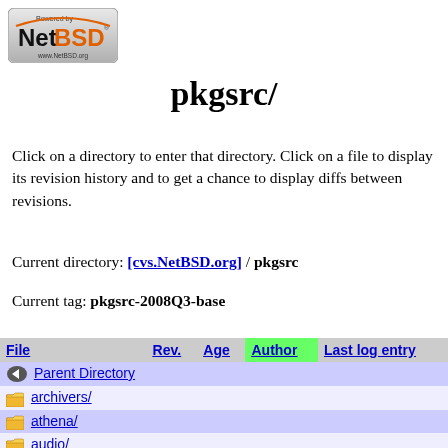[Figure (logo): Powered by NetBSD www.NetBSD.org logo badge]
pkgsrc/
Click on a directory to enter that directory. Click on a file to display its revision history and to get a chance to display diffs between revisions.
Current directory: [cvs.NetBSD.org] / pkgsrc
Current tag: pkgsrc-2008Q3-base
| File | Rev. | Age | Author | Last log entry |
| --- | --- | --- | --- | --- |
| [Parent Directory] |  |  |  |  |
| archivers/ |  |  |  |  |
| athena/ |  |  |  |  |
| audio/ |  |  |  |  |
| benchmarks/ |  |  |  |  |